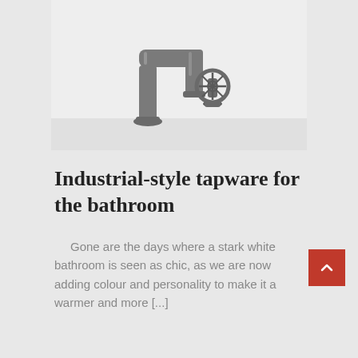[Figure (photo): Industrial-style bathroom faucet tap with a circular wheel handle in dark gunmetal/chrome finish, photographed against a light grey background on a white surface.]
Industrial-style tapware for the bathroom
Gone are the days where a stark white bathroom is seen as chic, as we are now adding colour and personality to make it a warmer and more [...]